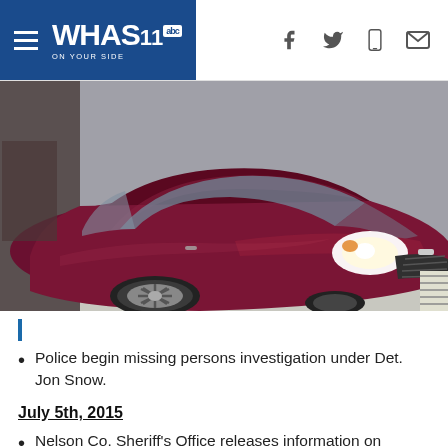WHAS11 abc ON YOUR SIDE
[Figure (photo): Dark maroon/burgundy Chevrolet Impala sedan photographed from front-left angle, headlights on, parked indoors on concrete floor]
Police begin missing persons investigation under Det. Jon Snow.
July 5th, 2015
Nelson Co. Sheriff's Office releases information on